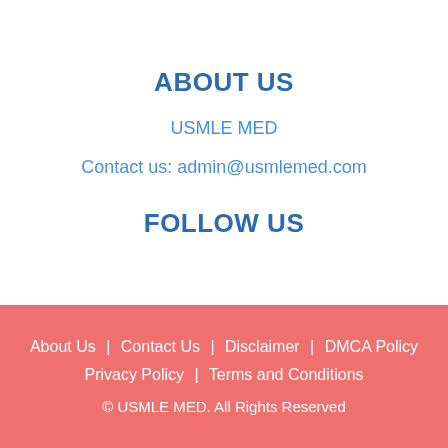ABOUT US
USMLE MED
Contact us: admin@usmlemed.com
FOLLOW US
About Us    Contact Us    Disclaimer    DMCA Policy    Privacy Policy    Terms and Conditions    © USMLE MED. All Rights Reserved